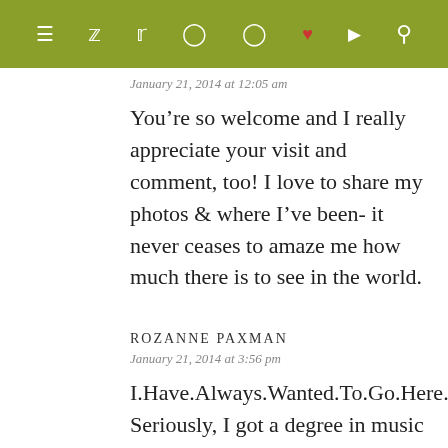[Figure (screenshot): Navigation bar with olive/green background showing hamburger menu icon, social media icons (Facebook, Twitter, Instagram, Pinterest, heart, RSS), and search icon in white]
January 21, 2014 at 12:05 am
You’re so welcome and I really appreciate your visit and comment, too! I love to share my photos & where I’ve been- it never ceases to amaze me how much there is to see in the world.
ROZANNE PAXMAN
January 21, 2014 at 3:56 pm
I.Have.Always.Wanted.To.Go.Here. Seriously, I got a degree in music and